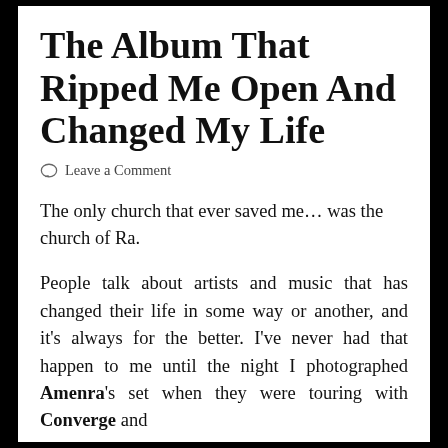The Album That Ripped Me Open And Changed My Life
Leave a Comment
The only church that ever saved me… was the church of Ra.
People talk about artists and music that has changed their life in some way or another, and it's always for the better. I've never had that happen to me until the night I photographed Amenra's set when they were touring with Converge and